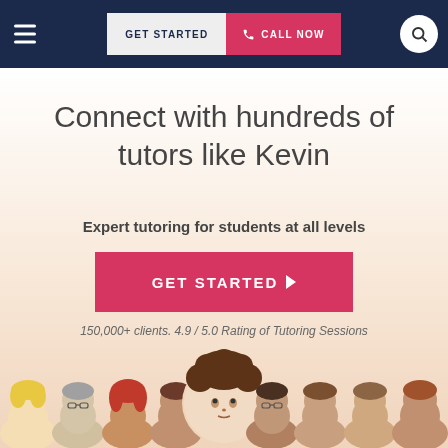[Figure (screenshot): Navigation header bar with hamburger menu, GET STARTED button, CALL NOW button in pink, and search icon on navy blue background]
Connect with hundreds of tutors like Kevin
Expert tutoring for students at all levels
[Figure (other): Pink GET STARTED button with right arrow]
150,000+ clients. 4.9 / 5.0 Rating of Tutoring Sessions
[Figure (illustration): Row of cartoon tutor face illustrations with one prominent circular portrait in the center (curly brown hair) and several others on either side]